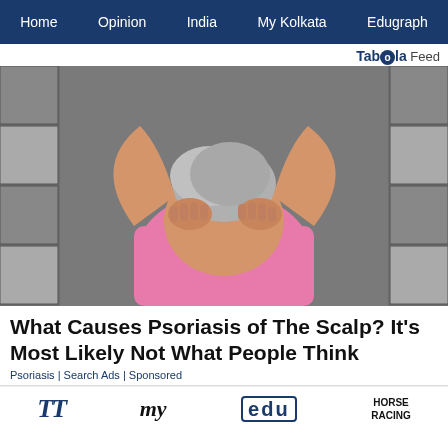Home | Opinion | India | My Kolkata | Edugraph
Taboola Feed
[Figure (photo): Person seen from behind scratching their back/neck, wearing a pink top, with grey hair, in front of a tiled wall]
What Causes Psoriasis of The Scalp? It's Most Likely Not What People Think
Psoriasis | Search Ads | Sponsored
TT | my | edu | HORSE RACING